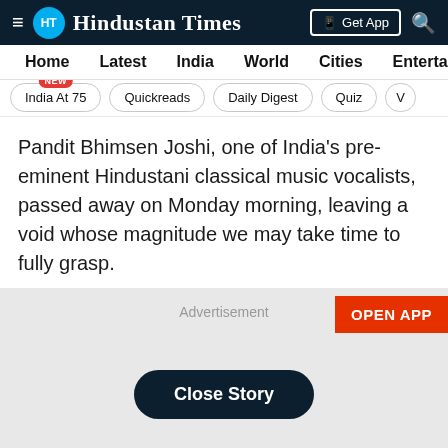HT Hindustan Times — Get App
Home  Latest  India  World  Cities  Entertainment
India At 75 (NEW)  Quickreads  Daily Digest  Quiz  V
Pandit Bhimsen Joshi, one of India's pre-eminent Hindustani classical music vocalists, passed away on Monday morning, leaving a void whose magnitude we may take time to fully grasp.
Advertisement
OPEN APP
Close Story